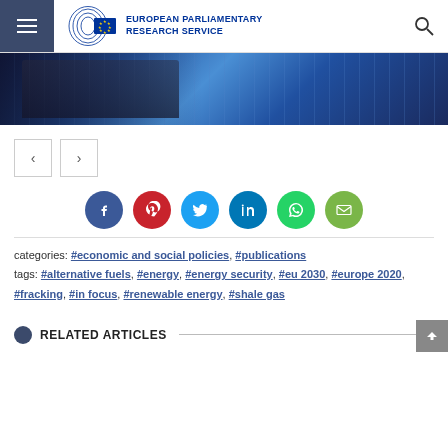European Parliamentary Research Service
[Figure (photo): People installing or handling solar panels, blue background]
[Figure (other): Navigation arrows left and right, and social media share icons: Facebook, Pinterest, Twitter, LinkedIn, WhatsApp, Email]
categories: #economic and social policies, #publications
tags: #alternative fuels, #energy, #energy security, #eu 2030, #europe 2020, #fracking, #in focus, #renewable energy, #shale gas
RELATED ARTICLES